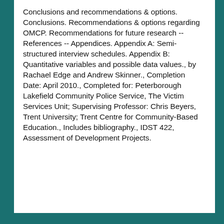Conclusions and recommendations & options. Conclusions. Recommendations & options regarding OMCP. Recommendations for future research -- References -- Appendices. Appendix A: Semi-structured interview schedules. Appendix B: Quantitative variables and possible data values., by Rachael Edge and Andrew Skinner., Completion Date: April 2010., Completed for: Peterborough Lakefield Community Police Service, The Victim Services Unit; Supervising Professor: Chris Beyers, Trent University; Trent Centre for Community-Based Education., Includes bibliography., IDST 422, Assessment of Development Projects.